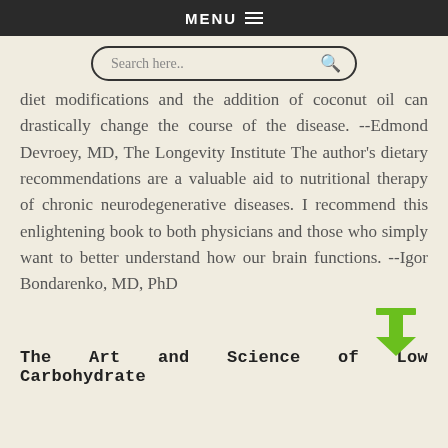MENU ≡
[Figure (other): Search bar with magnifying glass icon]
diet modifications and the addition of coconut oil can drastically change the course of the disease. --Edmond Devroey, MD, The Longevity Institute The author's dietary recommendations are a valuable aid to nutritional therapy of chronic neurodegenerative diseases. I recommend this enlightening book to both physicians and those who simply want to better understand how our brain functions. --Igor Bondarenko, MD, PhD
The Art and Science of Low Carbohydrate